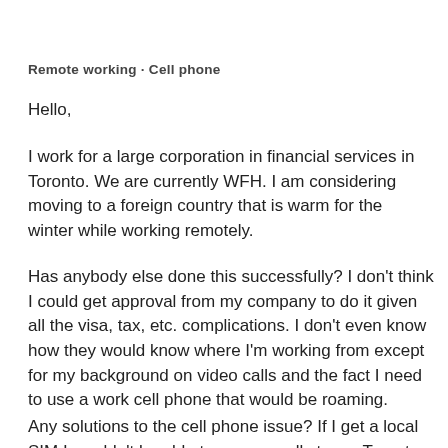Remote working · Cell phone
Hello,
I work for a large corporation in financial services in Toronto. We are currently WFH. I am considering moving to a foreign country that is warm for the winter while working remotely.
Has anybody else done this successfully? I don't think I could get approval from my company to do it given all the visa, tax, etc. complications. I don't even know how they would know where I'm working from except for my background on video calls and the fact I need to use a work cell phone that would be roaming.
Any solutions to the cell phone issue? If I get a local SIM I wouldn't be able to answer calls to my Toronto